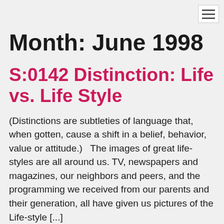Month: June 1998
S:0142 Distinction: Life vs. Life Style
(Distinctions are subtleties of language that, when gotten, cause a shift in a belief, behavior, value or attitude.)   The images of great life-styles are all around us. TV, newspapers and magazines, our neighbors and peers, and the programming we received from our parents and their generation, all have given us pictures of the Life-style [...]
S:0141 Top 10 List: Top 10 Reasons to Keep Your Word